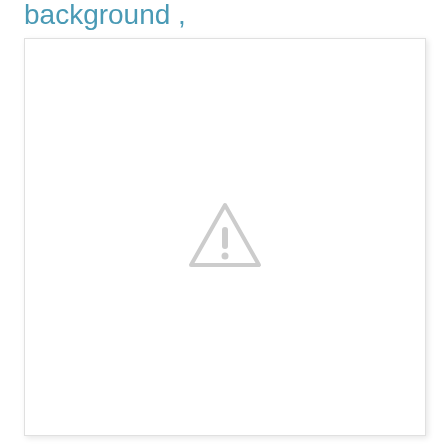background ,
[Figure (other): A white rectangular box with a light gray warning triangle icon (exclamation mark inside triangle) centered in the middle, representing a missing or unavailable image placeholder.]